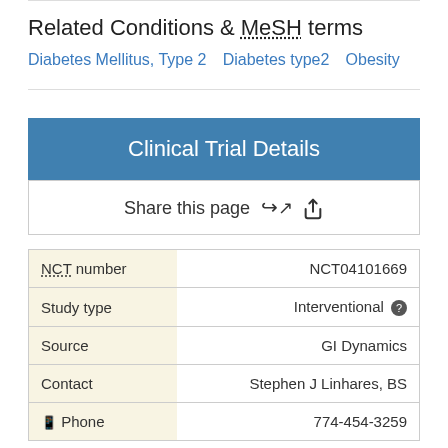Related Conditions & MeSH terms
Diabetes Mellitus, Type 2   Diabetes type2   Obesity
Clinical Trial Details
Share this page
| Field | Value |
| --- | --- |
| NCT number | NCT04101669 |
| Study type | Interventional |
| Source | GI Dynamics |
| Contact | Stephen J Linhares, BS |
| Phone | 774-454-3259 |